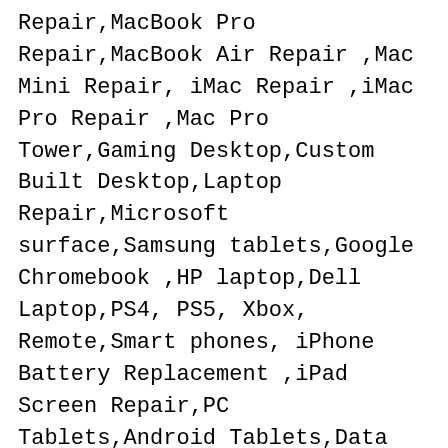Repair,MacBook Pro Repair,MacBook Air Repair ,Mac Mini Repair, iMac Repair ,iMac Pro Repair ,Mac Pro Tower,Gaming Desktop,Custom Built Desktop,Laptop Repair,Microsoft surface,Samsung tablets,Google Chromebook ,HP laptop,Dell Laptop,PS4, PS5, Xbox, Remote,Smart phones, iPhone Battery Replacement ,iPad Screen Repair,PC Tablets,Android Tablets,Data Recovery,Virus Removal, data backup, email setup, server setup, firewall installation,Logic Board Repair , Slow Computer Fix,Laptop LCD Replacement,Solid State Drive Upgrade,Computer Data Migration,Liquid Damage Mac Book, iPhone Stuck with Apple logo,Laptop Battery Replacement,Laptop DC jack Charge Port Service,Software Install ,OS X configuration,Hard Drive Data Recovery,Micro-solder Board,Laptop KeyBoard Repair,Software